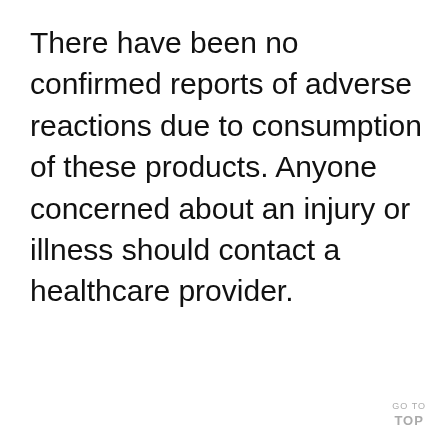There have been no confirmed reports of adverse reactions due to consumption of these products. Anyone concerned about an injury or illness should contact a healthcare provider.
GO TO TOP